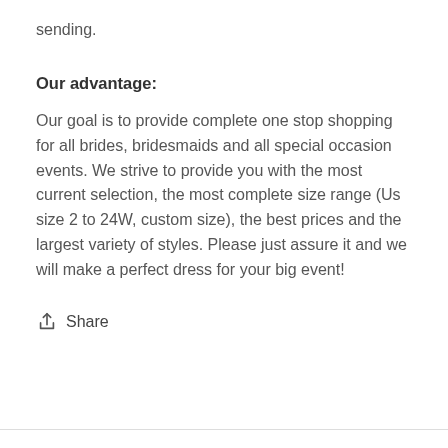sending.
Our advantage:
Our goal is to provide complete one stop shopping for all brides, bridesmaids and all special occasion events. We strive to provide you with the most current selection, the most complete size range (Us size 2 to 24W, custom size), the best prices and the largest variety of styles. Please just assure it and we will make a perfect dress for your big event!
Share